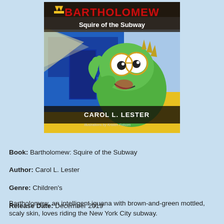[Figure (illustration): Book cover of 'Bartholomew: Squire of the Subway' by Carol L. Lester, illustrated by Kristen Folsom. Shows a cartoon green iguana with glasses and a crown in a New York City subway setting with blue and yellow colors.]
Book: Bartholomew: Squire of the Subway
Author: Carol L. Lester
Genre: Children's
Release Date: December 2019
Bartholomew, an intelligent iguana with brown-and-green mottled, scaly skin, loves riding the New York City subway.